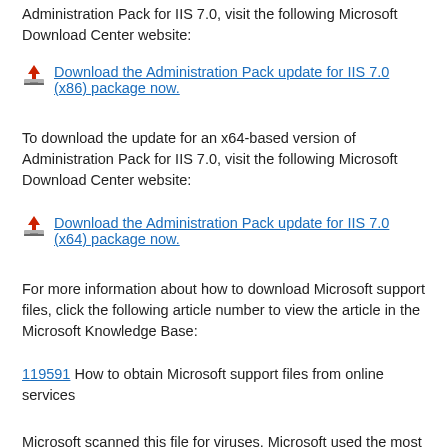Administration Pack for IIS 7.0, visit the following Microsoft Download Center website:
Download the Administration Pack update for IIS 7.0 (x86) package now.
To download the update for an x64-based version of Administration Pack for IIS 7.0, visit the following Microsoft Download Center website:
Download the Administration Pack update for IIS 7.0 (x64) package now.
For more information about how to download Microsoft support files, click the following article number to view the article in the Microsoft Knowledge Base:
119591 How to obtain Microsoft support files from online services
Microsoft scanned this file for viruses. Microsoft used the most current virus-detection software that was available on the date that the file was posted. The file is stored on security-enhanced servers that help prevent any unauthorized changes to the file.